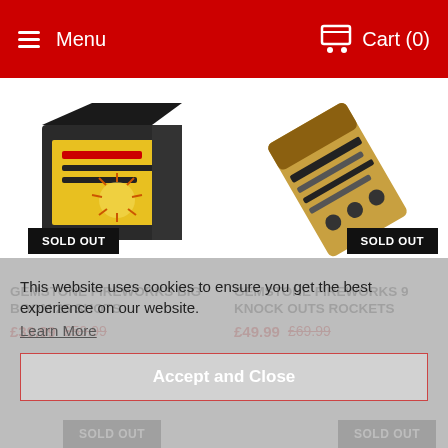Menu  Cart (0)
[Figure (photo): Firework box product: Gemstone Fireworks Big Boom 25 Shots, with SOLD OUT badge overlay]
[Figure (photo): Firework rocket product: Gemstone Fireworks 9 Knock Outs Rockets, with SOLD OUT badge overlay]
GEMSTONE FIREWORKS BIG BOOM 25 SHOTS
£39.99  £59.99
GEMSTONE FIREWORKS 9 KNOCK OUTS ROCKETS
£49.99  £69.99
This website uses cookies to ensure you get the best experience on our website.
Learn More
Accept and Close